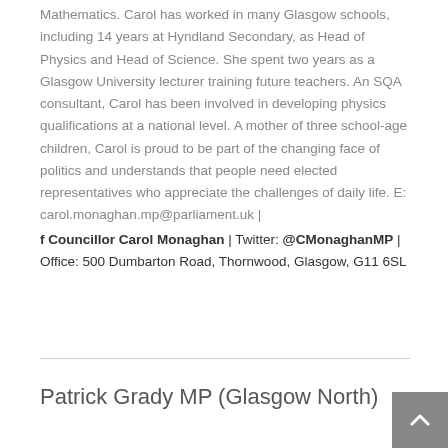Mathematics. Carol has worked in many Glasgow schools, including 14 years at Hyndland Secondary, as Head of Physics and Head of Science. She spent two years as a Glasgow University lecturer training future teachers. An SQA consultant, Carol has been involved in developing physics qualifications at a national level. A mother of three school-age children, Carol is proud to be part of the changing face of politics and understands that people need elected representatives who appreciate the challenges of daily life. E: carol.monaghan.mp@parliament.uk |
 Councillor Carol Monaghan | Twitter: @CMonaghanMP | Office: 500 Dumbarton Road, Thornwood, Glasgow, G11 6SL
Patrick Grady MP (Glasgow North)